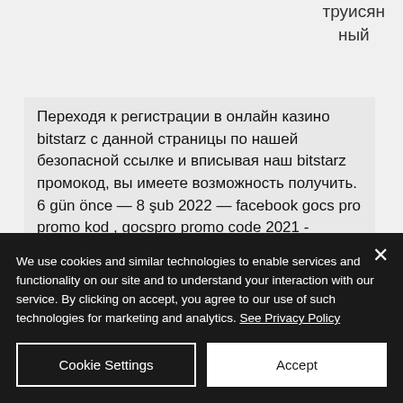труисян
ный
Переходя к регистрации в онлайн казино bitstarz с данной страницы по нашей безопасной ссылке и вписывая наш bitstarz промокод, вы имеете возможность получить. 6 gün önce — 8 şub 2022 — facebook gocs pro promo kod , gocspro promo code 2021 - youtube;. Mansion casino promo code compagnialagiara. Srguru tr virgin casino promotion code, ruhsatsız.io yerinde kumar oynıdılar: 26
We use cookies and similar technologies to enable services and functionality on our site and to understand your interaction with our service. By clicking on accept, you agree to our use of such technologies for marketing and analytics. See Privacy Policy
Cookie Settings
Accept